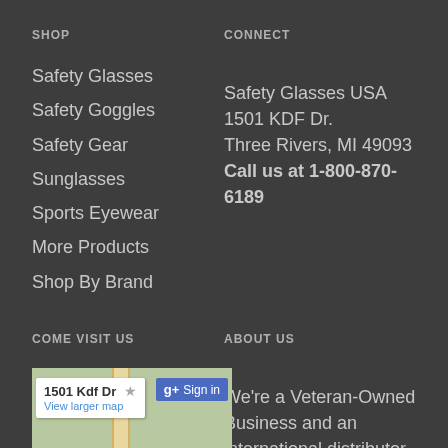SHOP
Safety Glasses
Safety Goggles
Safety Gear
Sunglasses
Sports Eyewear
More Products
Shop By Brand
CONNECT
Safety Glasses USA
1501 KDF Dr.
Three Rivers, MI 49093
Call us at 1-800-870-6189
COME VISIT US
[Figure (map): Google map showing 1501 Kdf Dr location with Sign in button]
ABOUT US
We're a Veteran-Owned Business and an international distributor of